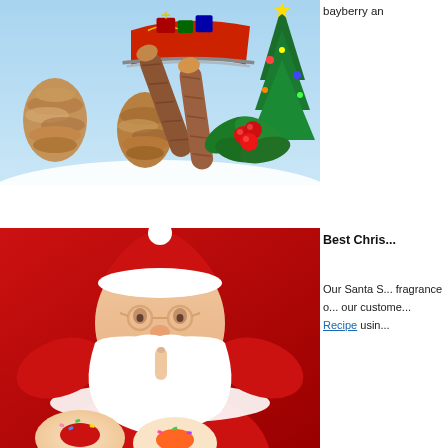[Figure (photo): Christmas scene with Santa's sleigh, pine cones, cinnamon sticks, and holly berries against a snowy background]
bayberry an...
[Figure (photo): Santa Claus holding finger to lips in a shushing gesture, with frosted donuts visible at the bottom, against a red background]
Best Chris...
Our Santa S... fragrance o... our custome... Recipe usin...